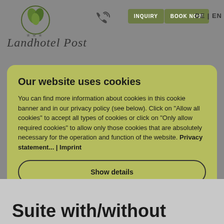[Figure (logo): Landhotel Post mountain/leaf logo with stars]
[Figure (illustration): Phone/call icon]
INQUIRY
BOOK NOW
DE | EN
Landhotel Post
Our website uses cookies
You can find more information about cookies in this cookie banner and in our privacy policy (see below). Click on "Allow all cookies" to accept all types of cookies or click on "Only allow required cookies" to allow only those cookies that are absolutely necessary for the operation and function of the website. Privacy statement... | Imprint
Show details
Only allow required cookies
Accept all cookies (incl. from US providers)
Suite with/without